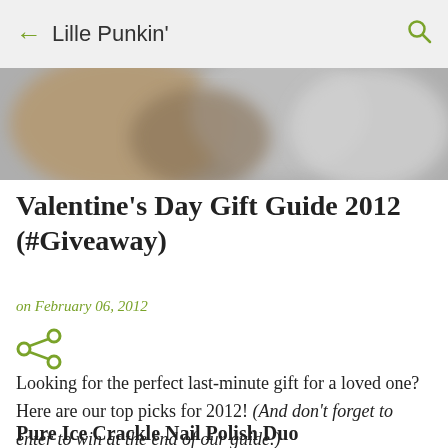← Lille Punkin'
[Figure (photo): Blurred close-up image of nail polish bottles, metallic/silver tones with brown elements]
Valentine's Day Gift Guide 2012 (#Giveaway)
on February 06, 2012
[Figure (other): Share icon (three connected circles)]
Looking for the perfect last-minute gift for a loved one?  Here are our top picks for 2012! (And don't forget to enter to win at the end of our guide.)
Pure Ice Crackle Nail Polish Duo